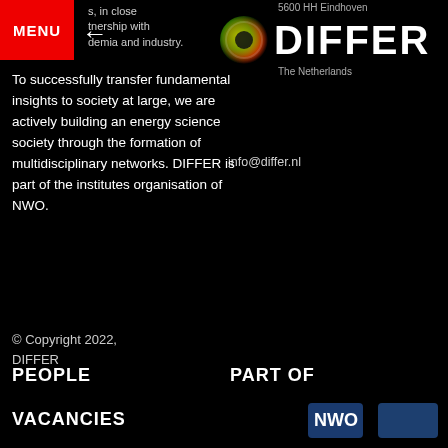s, in close
tnership with
demia and industry.
[Figure (logo): DIFFER institute logo — circular gradient icon (green, yellow, red) with DIFFER text in bold white on black background, with address '5600 HH Eindhoven The Netherlands' above]
info@differ.nl
To successfully transfer fundamental insights to society at large, we are actively building an energy science society through the formation of multidisciplinary networks. DIFFER is part of the institutes organisation of NWO.
© Copyright 2022, DIFFER
PEOPLE
VACANCIES
PART OF